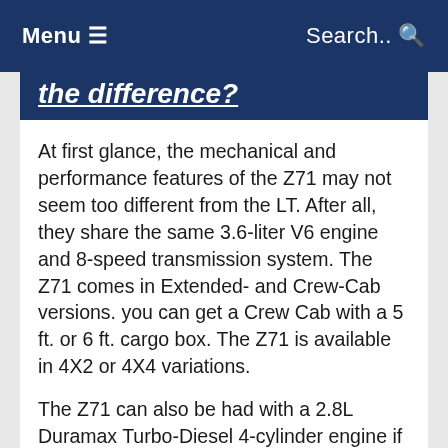Menu ≡    Search..  🔍
the difference?
At first glance, the mechanical and performance features of the Z71 may not seem too different from the LT. After all, they share the same 3.6-liter V6 engine and 8-speed transmission system. The Z71 comes in Extended- and Crew-Cab versions. you can get a Crew Cab with a 5 ft. or 6 ft. cargo box. The Z71 is available in 4X2 or 4X4 variations.
The Z71 can also be had with a 2.8L Duramax Turbo-Diesel 4-cylinder engine if you prefer. One of the main mechanical differences here is that the Z71 has some extras that make it an off-road machine. This...